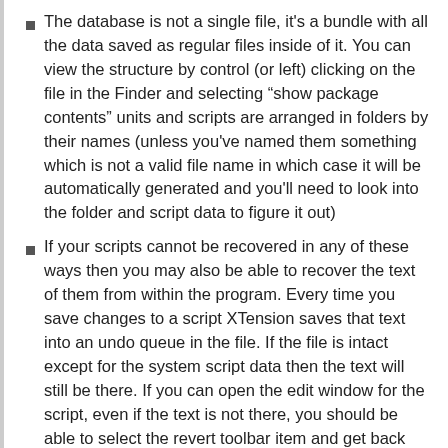The database is not a single file, it's a bundle with all the data saved as regular files inside of it. You can view the structure by control (or left) clicking on the file in the Finder and selecting “show package contents” units and scripts are arranged in folders by their names (unless you've named them something which is not a valid file name in which case it will be automatically generated and you'll need to look into the folder and script data to figure it out)
If your scripts cannot be recovered in any of these ways then you may also be able to recover the text of them from within the program. Every time you save changes to a script XTension saves that text into an undo queue in the file. If the file is intact except for the system script data then the text will still be there. If you can open the edit window for the script, even if the text is not there, you should be able to select the revert toolbar item and get back the last text you compiled and save it fresh.